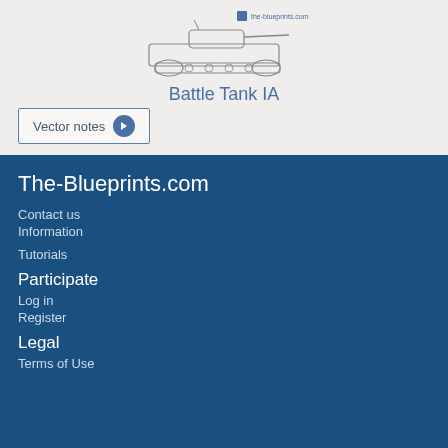[Figure (illustration): Blueprint-style line drawing of a Battle Tank IA with watermark brand logo 'the-blueprints.com']
Battle Tank IA
Vector notes →
The-Blueprints.com
Contact us
Information
Tutorials
Participate
Log in
Register
Legal
Terms of Use